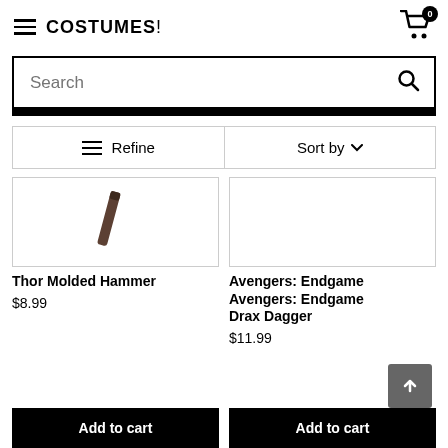COSTUMES! (with hamburger menu and cart icon, 0 items)
Search
Refine | Sort by
[Figure (photo): Thor Molded Hammer product image showing a partial view of a dark brown/black molded hammer handle]
Thor Molded Hammer
$8.99
[Figure (photo): Avengers: Endgame Drax Dagger product image - mostly blank/white area]
Avengers: Endgame Avengers: Endgame Drax Dagger
$11.99
Add to cart
Add to cart